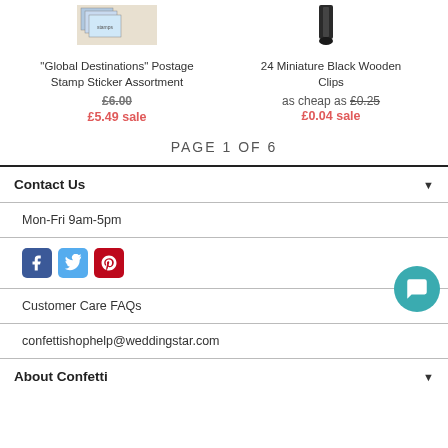[Figure (photo): Postage stamp sticker assortment product image (partial, top cropped)]
"Global Destinations" Postage Stamp Sticker Assortment
£6.00 £5.49 sale
[Figure (photo): 24 Miniature Black Wooden Clips product image (partial, top cropped)]
24 Miniature Black Wooden Clips
as cheap as £0.25 £0.04 sale
PAGE 1 OF 6
Contact Us
Mon-Fri 9am-5pm
[Figure (other): Social media icons: Facebook, Twitter, Pinterest]
Customer Care FAQs
confettishophelp@weddingstar.com
About Confetti